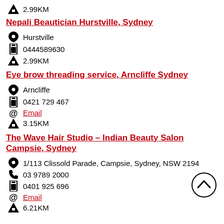2.99KM
Nepali Beautician Hurstville, Sydney
Hurstville
0444589630
2.99KM
Eye brow threading service, Arncliffe Sydney
Arncliffe
0421 729 467
Email
3.15KM
The Wave Hair Studio – Indian Beauty Salon Campsie, Sydney
1/113 Clissold Parade, Campsie, Sydney, NSW 2194
03 9789 2000
0401 925 696
Email
6.21KM